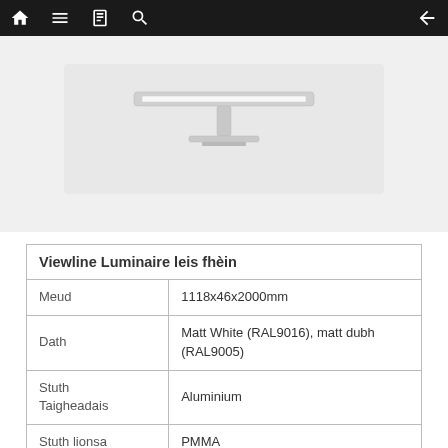Navigation bar with home, menu, book, search, and back icons
[Figure (photo): Product photo of a Viewline Luminaire ceiling light fixture, shown in white on a light grey background]
| Viewline Luminaire leis fhèin |  |
| --- | --- |
| Meud | 1118x46x2000mm |
| Dath | Matt White (RAL9016), matt dubh (RAL9005) |
| Stuth Taigheadais | Aluminium |
| Stuth lionsa | PMMA |
| Stuth meòrachaidh Louver | PC |
| Èifeachdas | 115lm/W |
| Wattage | 65W,81W |